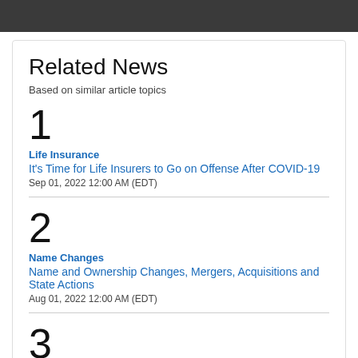Related News
Based on similar article topics
1
Life Insurance
It's Time for Life Insurers to Go on Offense After COVID-19
Sep 01, 2022 12:00 AM (EDT)
2
Name Changes
Name and Ownership Changes, Mergers, Acquisitions and State Actions
Aug 01, 2022 12:00 AM (EDT)
3